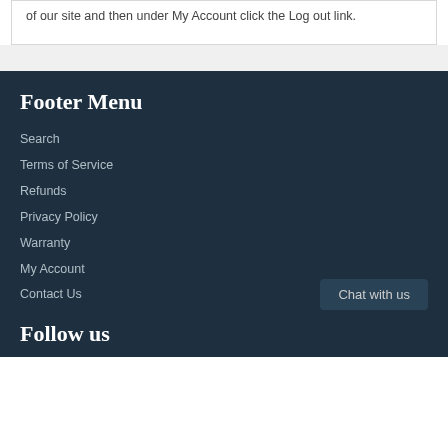of our site and then under My Account click the Log out link.
Footer Menu
Search
Terms of Service
Refunds
Privacy Policy
Warranty
My Account
Contact Us
Chat with us
Follow us